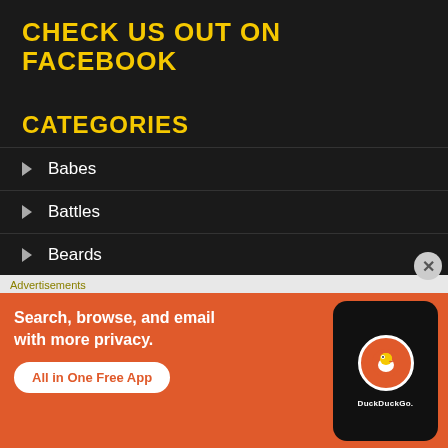CHECK US OUT ON FACEBOOK
CATEGORIES
Babes
Battles
Beards
Bikes
Dream Bikes
Advertisements
[Figure (screenshot): DuckDuckGo advertisement banner: orange background with text 'Search, browse, and email with more privacy. All in One Free App' and a phone showing the DuckDuckGo logo and name]